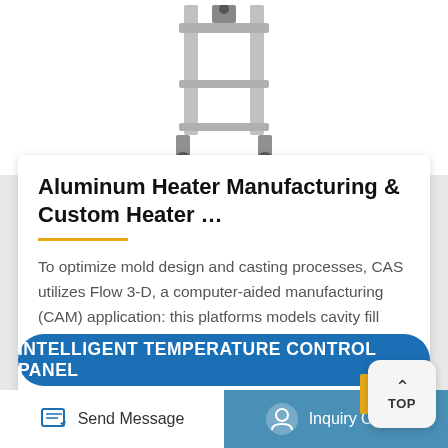[Figure (photo): Product photo of an aluminum heater frame/stand structure with wheeled base, shown against white background, partially cropped at top]
Aluminum Heater Manufacturing & Custom Heater …
To optimize mold design and casting processes, CAS utilizes Flow 3-D, a computer-aided manufacturing (CAM) application: this platforms models cavity fill parameters, calculates solidification results, and reduc…
INTELLIGENT TEMPERATURE CONTROL PANEL
Send Message
Inquiry Online